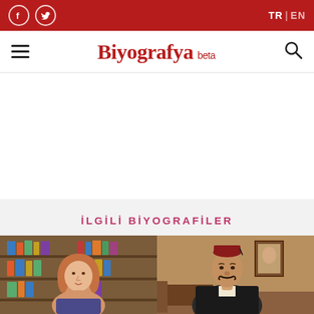Biyografya beta — TR | EN — social icons: Facebook, Twitter
İLGİLİ BİYOGRAFİLER
[Figure (photo): Photo of a woman with reddish hair in front of bookshelves]
[Figure (photo): Vintage painting portrait of a man with a mustache wearing a fez/hat]